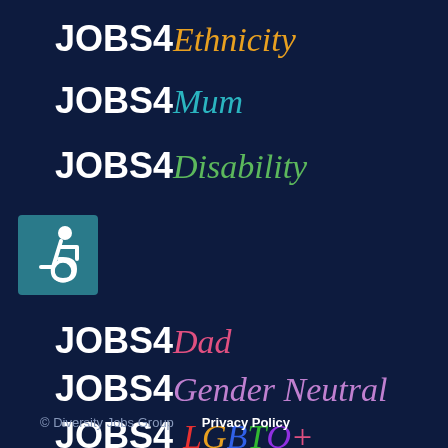[Figure (logo): JOBS4 Ethnicity brand logo in white bold + orange italic script on dark navy background]
[Figure (logo): JOBS4 Mum brand logo in white bold + teal italic script]
[Figure (logo): JOBS4 Disability brand logo in white bold + green italic script]
[Figure (logo): Disability accessibility icon - white wheelchair symbol on teal square]
[Figure (logo): JOBS4 Dad brand logo in white bold + pink italic script]
[Figure (logo): JOBS4 Gender Neutral brand logo in white bold + purple italic script]
[Figure (logo): JOBS4 LGBTQ+ brand logo in white bold + rainbow colored italic script]
© Diversity Jobs Group   Privacy Policy